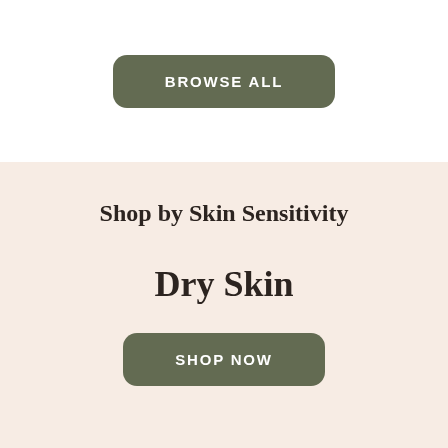BROWSE ALL
Shop by Skin Sensitivity
Dry Skin
SHOP NOW